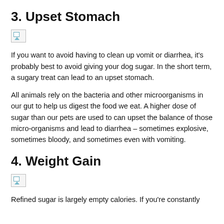3. Upset Stomach
[Figure (photo): Broken/missing image placeholder for upset stomach section]
If you want to avoid having to clean up vomit or diarrhea, it's probably best to avoid giving your dog sugar. In the short term, a sugary treat can lead to an upset stomach.
All animals rely on the bacteria and other microorganisms in our gut to help us digest the food we eat. A higher dose of sugar than our pets are used to can upset the balance of those micro-organisms and lead to diarrhea – sometimes explosive, sometimes bloody, and sometimes even with vomiting.
4. Weight Gain
[Figure (photo): Broken/missing image placeholder for weight gain section]
Refined sugar is largely empty calories. If you're constantly